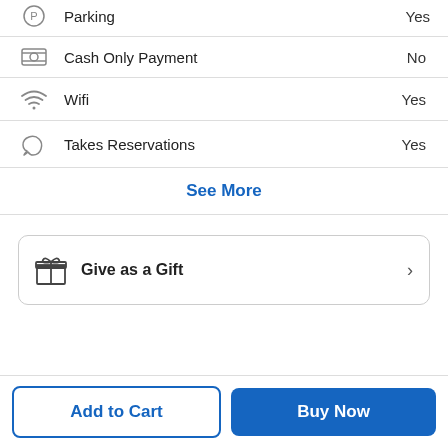Parking — Yes
Cash Only Payment — No
Wifi — Yes
Takes Reservations — Yes
See More
Give as a Gift
Add to Cart
Buy Now